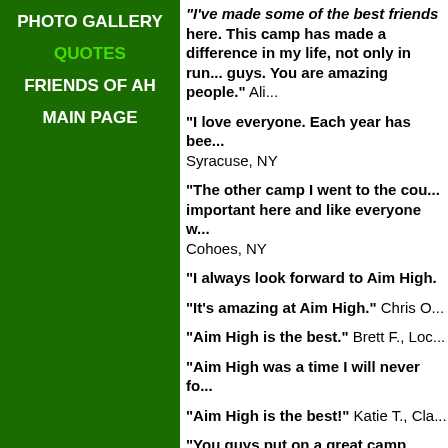PHOTO GALLERY
QUOTES
FRIENDS OF AH
MAIN PAGE
"I've made some of the best friends here. This camp has made a difference in my life, not only in running but in life in general. You guys. You are amazing people." Alice
"I love everyone. Each year has been..." Syracuse, NY
"The other camp I went to the country... important here and like everyone w... Cohoes, NY
"I always look forward to Aim High.
"It's amazing at Aim High." Chris O.
"Aim High is the best." Brett F., Loc...
"Aim High was a time I will never fo...
"Aim High is the best!" Katie T., Cla...
"You guys put on a great camp and... counselors are a lot of fun and real... R., Cicero, NY
"The best...